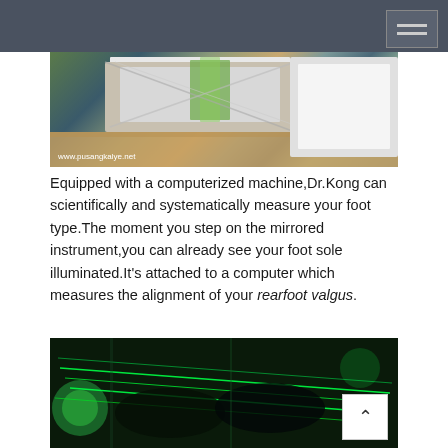[Figure (photo): Close-up photo of a mirrored foot measurement instrument with green laser lines visible, watermarked www.pusangkalye.net]
Equipped with a computerized machine,Dr.Kong can scientifically and systematically measure your foot type.The moment you step on the mirrored instrument,you can already see your foot sole illuminated.It's attached to a computer which measures the alignment of your rearfoot valgus.
[Figure (photo): Close-up photo of foot on green-lit mirrored instrument showing foot sole illuminated with green laser lines]